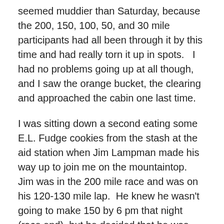seemed muddier than Saturday, because the 200, 150, 100, 50, and 30 mile participants had all been through it by this time and had really torn it up in spots.   I had no problems going up at all though, and I saw the orange bucket, the clearing and approached the cabin one last time.
I was sitting down a second eating some E.L. Fudge cookies from the stash at the aid station when Jim Lampman made his way up to join me on the mountaintop.  Jim was in the 200 mile race and was on his 120-130 mile lap.  He knew he wasn't going to make 150 by 6 pm that night (race end), but he decided that he was going to get in every single mile he could.  I have huge respect for him and the other competitors that kept going in the face of not meeting their initial goals.